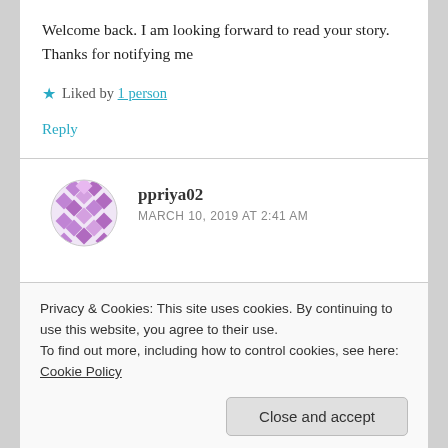Welcome back. I am looking forward to read your story.
Thanks for notifying me
★ Liked by 1 person
Reply
ppriya02
MARCH 10, 2019 AT 2:41 AM
Privacy & Cookies: This site uses cookies. By continuing to use this website, you agree to their use.
To find out more, including how to control cookies, see here: Cookie Policy
Close and accept